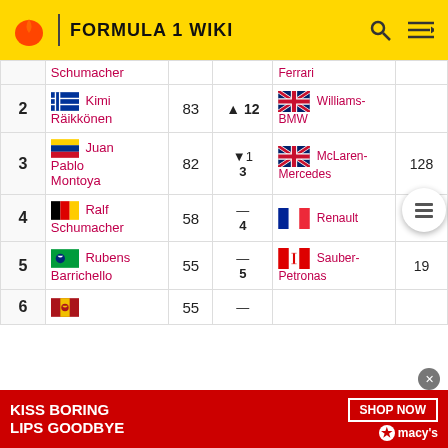FORMULA 1 WIKI
| Pos | Driver | Pts | Change | Constructor | Pts |
| --- | --- | --- | --- | --- | --- |
| 1 | Schumacher |  |  | Ferrari |  |
| 2 | Kimi Räikkönen | 83 | ▲12 | Williams-BMW |  |
| 3 | Juan Pablo Montoya | 82 | ▼1 / 3 | McLaren-Mercedes | 128 |
| 4 | Ralf Schumacher | 58 | — / 4 | Renault | 84 |
| 5 | Rubens Barrichello | 55 | — / 5 | Sauber-Petronas | 19 |
| 6 |  | 55 | — |  |  |
[Figure (screenshot): Advertisement banner: KISS BORING LIPS GOODBYE with SHOP NOW button and Macy's logo]